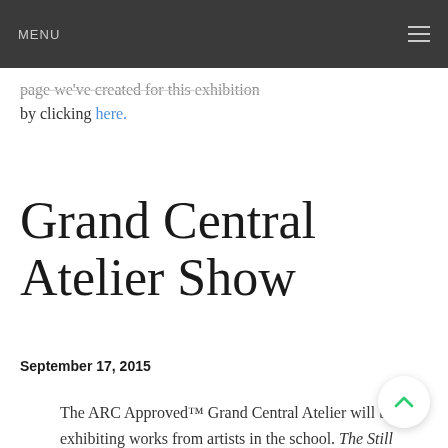MENU
page we've created for this exhibition by clicking here.
Grand Central Atelier Show
September 17, 2015
The ARC Approved™ Grand Central Atelier will be exhibiting works from artists in the school. The Still Life Show will open on